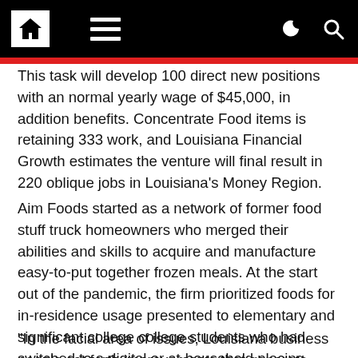[Navigation bar with home icon, menu icon, dark mode toggle, and search icon]
This task will develop 100 direct new positions with an normal yearly wage of $45,000, in addition benefits. Concentrate Food items is retaining 333 work, and Louisiana Financial Growth estimates the venture will final result in 220 oblique jobs in Louisiana's Money Region.
Aim Foods started as a network of former food stuff truck homeowners who merged their abilities and skills to acquire and manufacture easy-to-put together frozen meals. At the start out of the pandemic, the firm prioritized foods for in-residence usage presented to elementary and significant college college students who had switched to a digital or at-household placing.
“In the facial area of issues, Louisiana business people set forth improvements that generate